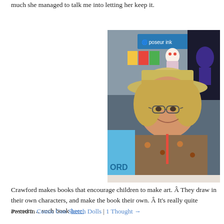much she managed to talk me into letting her keep it.
[Figure (photo): A woman wearing a tan wide-brimmed hat with a small stuffed clown doll on top of it, sitting at what appears to be a convention booth. She has glasses and is wearing a floral top with a red lanyard. In the background is a Poseur Ink booth sign and various colorful merchandise.]
Crawford makes books that encourage children to make art. Â They draw in their own characters, and make the book their own. Â It's really quite awesome such book here.
Posted in Comic Con Sketch Dolls | 1 Thought →